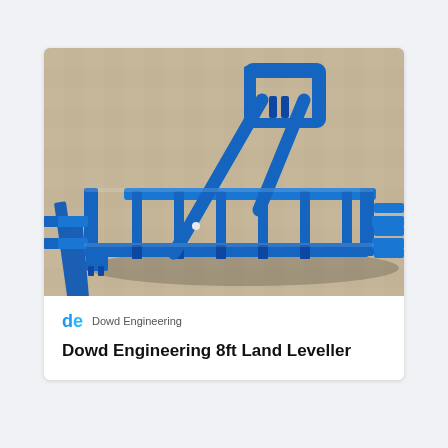[Figure (photo): Blue steel land leveller agricultural implement photographed on a concrete surface, showing a rectangular tubular steel frame with cross-members, drawbar, and A-frame hitch structure painted in blue powder coat.]
Dowd Engineering
Dowd Engineering 8ft Land Leveller